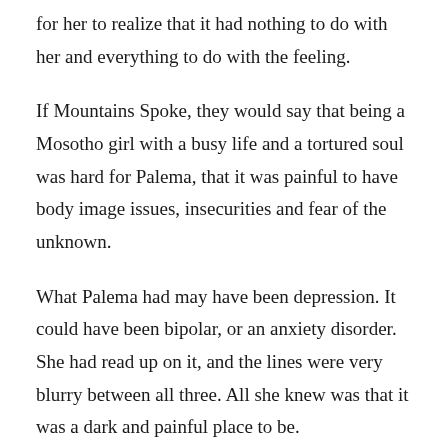for her to realize that it had nothing to do with her and everything to do with the feeling.
If Mountains Spoke, they would say that being a Mosotho girl with a busy life and a tortured soul was hard for Palema, that it was painful to have body image issues, insecurities and fear of the unknown.
What Palema had may have been depression. It could have been bipolar, or an anxiety disorder. She had read up on it, and the lines were very blurry between all three. All she knew was that it was a dark and painful place to be.
When she was younger, she binged—to